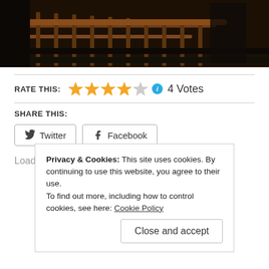[Figure (photo): Dark photo showing wooden staircase railing and stairs, dark interior setting]
RATE THIS: ★★★★☆ ℹ 4 Votes
SHARE THIS:
Twitter  Facebook
Loading...
Privacy & Cookies: This site uses cookies. By continuing to use this website, you agree to their use.
To find out more, including how to control cookies, see here: Cookie Policy
Close and accept